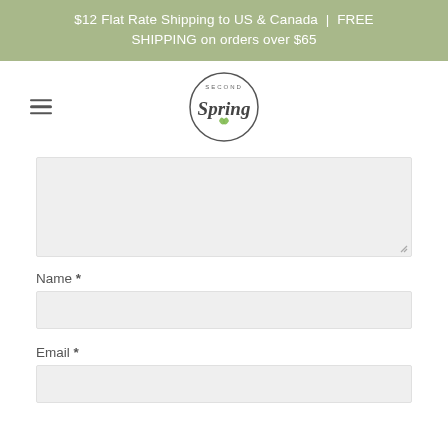$12 Flat Rate Shipping to US & Canada | FREE SHIPPING on orders over $65
[Figure (logo): Second Spring circular logo with cursive 'Spring' text and green leaf detail]
Name *
Email *